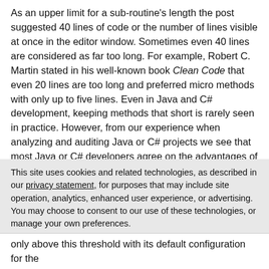As an upper limit for a sub-routine's length the post suggested 40 lines of code or the number of lines visible at once in the editor window. Sometimes even 40 lines are considered as far too long. For example, Robert C. Martin stated in his well-known book Clean Code that even 20 lines are too long and preferred micro methods with only up to five lines. Even in Java and C# development, keeping methods that short is rarely seen in practice. However, from our experience when analyzing and auditing Java or C# projects we see that most Java or C# developers agree on the advantages of having methods fitting on a screen page. Of course we've seen Java / C# code with a high
This site uses cookies and related technologies, as described in our privacy statement, for purposes that may include site operation, analytics, enhanced user experience, or advertising. You may choose to consent to our use of these technologies, or manage your own preferences.
Accept Cookies
More Information
Privacy Policy | Powered by: TrustArc
only above this threshold with its default configuration for the